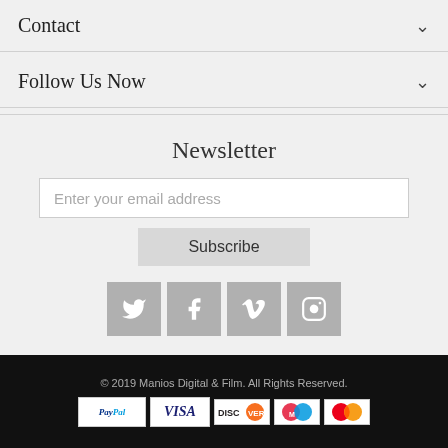Contact
Follow Us Now
Newsletter
Enter your email address
Subscribe
[Figure (illustration): Social media icons: Twitter, Facebook, Vimeo, Instagram]
© 2019 Manios Digital & Film. All Rights Reserved.
[Figure (illustration): Payment method logos: PayPal, Visa, Discover, Maestro, MasterCard]